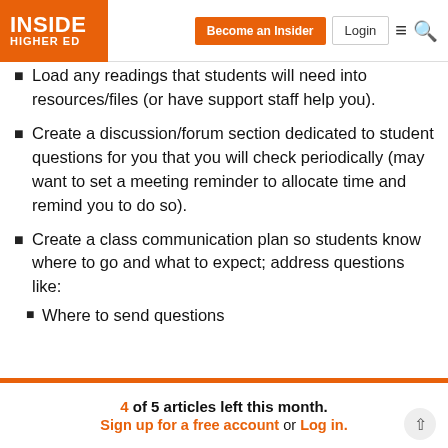Inside Higher Ed | Become an Insider | Login
Load any readings that students will need into resources/files (or have support staff help you).
Create a discussion/forum section dedicated to student questions for you that you will check periodically (may want to set a meeting reminder to allocate time and remind you to do so).
Create a class communication plan so students know where to go and what to expect; address questions like:
Where to send questions
4 of 5 articles left this month. Sign up for a free account or Log in.